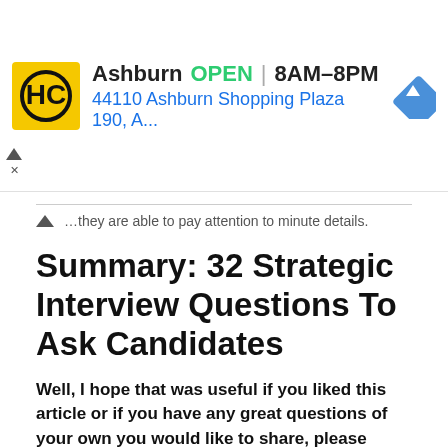[Figure (infographic): Advertisement banner for HC (HandyConnect or similar) showing Ashburn location, OPEN status, hours 8AM-8PM, address 44110 Ashburn Shopping Plaza 190, A..., with a navigation diamond icon, close/collapse controls]
...they are able to pay attention to minute details.
Summary: 32 Strategic Interview Questions To Ask Candidates
Well, I hope that was useful if you liked this article or if you have any great questions of your own you would like to share, please leave a comment below.
Lastly, a huge thank you to all of the esteemed contributors to this article.
Now that you have hired the right person, take a look at our